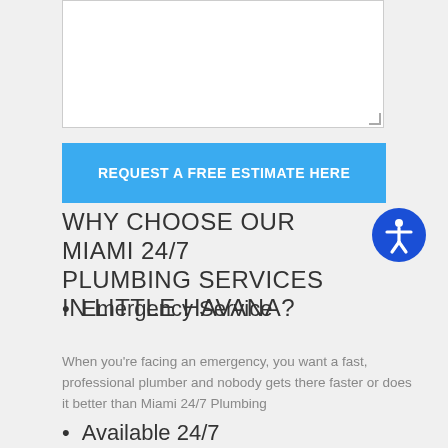[Figure (other): Empty textarea input box with resize handle in bottom-right corner]
REQUEST A FREE ESTIMATE HERE
WHY CHOOSE OUR MIAMI 24/7 PLUMBING SERVICES IN LITTLE HAVANA?
Emergency Service
When you’re facing an emergency, you want a fast, professional plumber and nobody gets there faster or does it better than Miami 24/7 Plumbing
Available 24/7